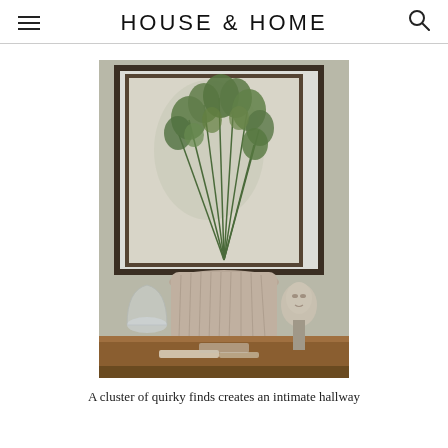HOUSE & HOME
[Figure (photo): A styled hallway vignette featuring a large stone urn planter with a tall leafy green rosemary plant, set on a wooden surface beside a glass cloche, a sculptural face bust, and other decorative objects, with a framed botanical print in the background.]
A cluster of quirky finds creates an intimate hallway